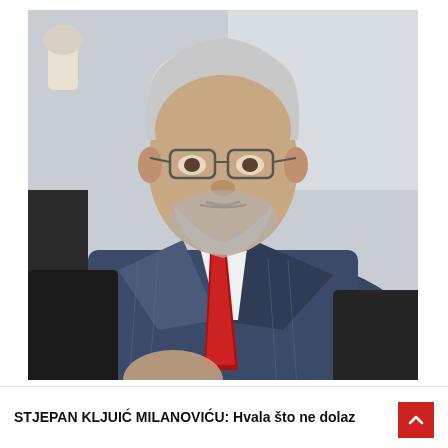[Figure (photo): Elderly man in a blue pinstripe suit with a red striped tie, white shirt, wearing glasses, with gray beard and white hair, seated in an office or interview setting, looking seriously at the camera.]
STJEPAN KLJUIĆ MILANOVIĆU: Hvala što ne dolaz